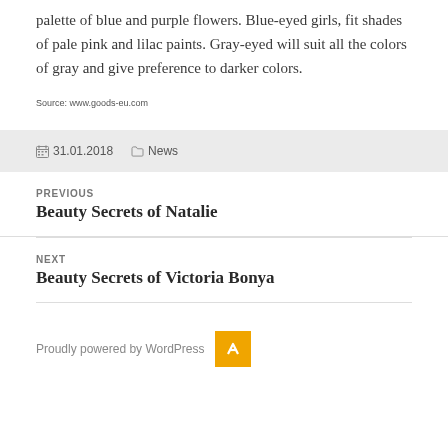palette of blue and purple flowers. Blue-eyed girls, fit shades of pale pink and lilac paints. Gray-eyed will suit all the colors of gray and give preference to darker colors.
Source: www.goods-eu.com
31.01.2018   News
PREVIOUS
Beauty Secrets of Natalie
NEXT
Beauty Secrets of Victoria Bonya
Proudly powered by WordPress